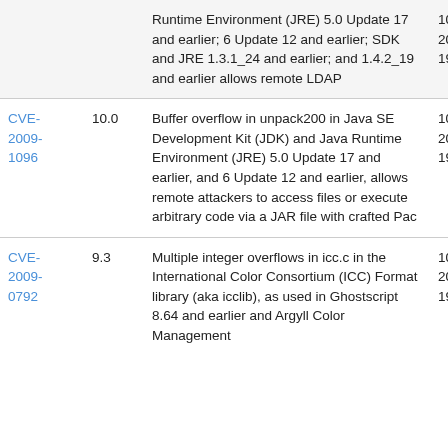| CVE | Score | Description | Date |
| --- | --- | --- | --- |
|  |  | Runtime Environment (JRE) 5.0 Update 17 and earlier; 6 Update 12 and earlier; SDK and JRE 1.3.1_24 and earlier; and 1.4.2_19 and earlier allows remote LDAP | 10
20
19 |
| CVE-2009-1096 | 10.0 | Buffer overflow in unpack200 in Java SE Development Kit (JDK) and Java Runtime Environment (JRE) 5.0 Update 17 and earlier, and 6 Update 12 and earlier, allows remote attackers to access files or execute arbitrary code via a JAR file with crafted Pac | 10
20
19 |
| CVE-2009-0792 | 9.3 | Multiple integer overflows in icc.c in the International Color Consortium (ICC) Format library (aka icclib), as used in Ghostscript 8.64 and earlier and Argyll Color Management | 10
20
19 |